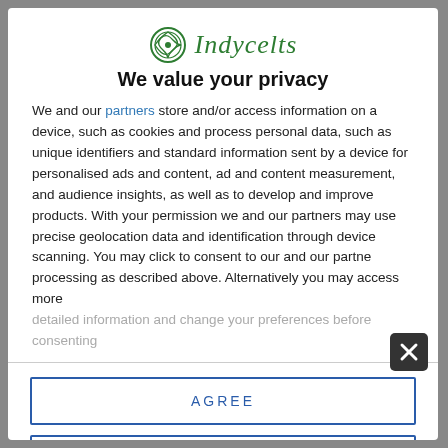[Figure (logo): Indycelts logo with Celtic knot circle icon and green italic text 'Indycelts']
We value your privacy
We and our partners store and/or access information on a device, such as cookies and process personal data, such as unique identifiers and standard information sent by a device for personalised ads and content, ad and content measurement, and audience insights, as well as to develop and improve products. With your permission we and our partners may use precise geolocation data and identification through device scanning. You may click to consent to our and our partners' processing as described above. Alternatively you may access more detailed information and change your preferences before consenting
AGREE
MORE OPTIONS